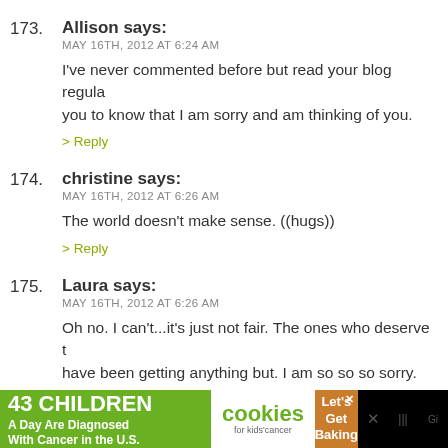173. Allison says:
MAY 16TH, 2012 AT 6:24 AM
I've never commented before but read your blog regularly. I just wanted you to know that I am sorry and am thinking of you.
> Reply
174. christine says:
MAY 16TH, 2012 AT 6:26 AM
The world doesn't make sense. ((hugs))
> Reply
175. Laura says:
MAY 16TH, 2012 AT 6:26 AM
Oh no. I can't...it's just not fair. The ones who deserve the best have been getting anything but. I am so so so sorry.
> Reply
[Figure (screenshot): Advertisement banner: '43 CHILDREN A Day Are Diagnosed With Cancer in the U.S.' with cookies for kids cancer and Let's Get Baking logos]